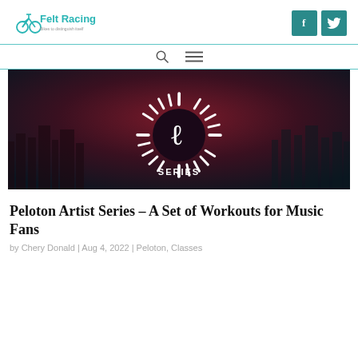Felt Racing
[Figure (logo): Felt Racing logo with bicycle icon and teal text]
[Figure (screenshot): Social media buttons: Facebook (f) and Twitter bird icons on teal square backgrounds]
[Figure (screenshot): Navigation bar with search icon and hamburger menu icon]
[Figure (photo): Dark background image with Peloton P Series logo - white sunburst design with letter P and text SERIES in the center, city skyline silhouette in background]
Peloton Artist Series – A Set of Workouts for Music Fans
by Chery Donald | Aug 4, 2022 | Peloton, Classes